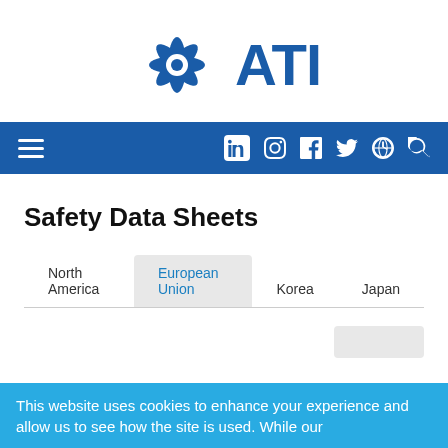[Figure (logo): ATI logo with blue starburst/snowflake icon and bold blue ATI text]
Navigation bar with hamburger menu and social/search icons: LinkedIn, Instagram, Facebook, Twitter, Globe, Search
Safety Data Sheets
Tabs: North America | European Union (active) | Korea | Japan
This website uses cookies to enhance your experience and allow us to see how the site is used. While our